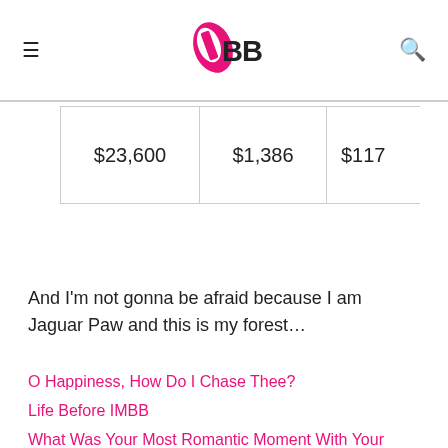IMBB
| $23,600 | $1,386 | $117… |
And I'm not gonna be afraid because I am Jaguar Paw and this is my forest…
O Happiness, How Do I Chase Thee?
Life Before IMBB
What Was Your Most Romantic Moment With Your Partner?